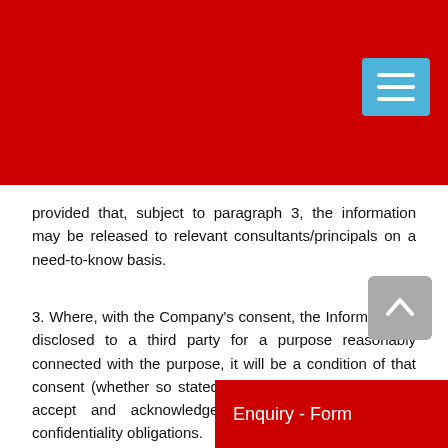provided that, subject to paragraph 3, the information may be released to relevant consultants/principals on a need-to-know basis.
3. Where, with the Company's consent, the Information is disclosed to a third party for a purpose reasonably connected with the purpose, it will be a condition of that consent (whether so stated or not) that such third party accept and acknowledge to be bound by these confidentiality obligations.
We reserve the right to negotiate an equitable adjustment to the terms and conditions applicable to this contract/order and to the price imposed o
Enquiry - Form